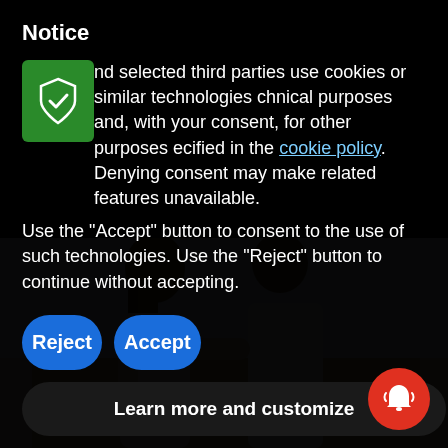Notice
We and selected third parties use cookies or similar technologies for technical purposes and, with your consent, for other purposes as specified in the cookie policy. Denying consent may make related features unavailable.
Use the “Accept” button to consent to the use of such technologies. Use the “Reject” button to continue without accepting.
Reject
Accept
Learn more and customize
[Figure (photo): Two people (a couple) viewed from behind, one with long hair, one in a white t-shirt, outdoors in a bright setting.]